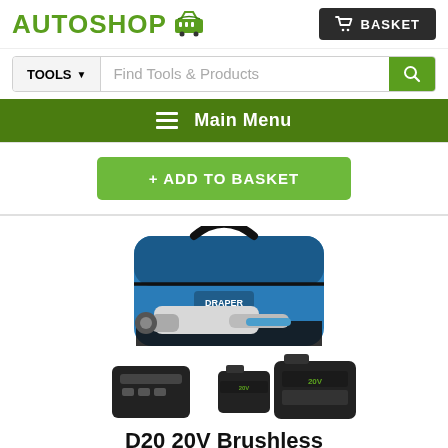AUTOSHOP | BASKET
TOOLS ▾  Find Tools & Products 🔍
☰ Main Menu
+ ADD TO BASKET
[Figure (photo): Product photo showing a blue tool bag, a right-angle drill/cutter tool, a battery charger, and two batteries on a white background]
D20 20V Brushless